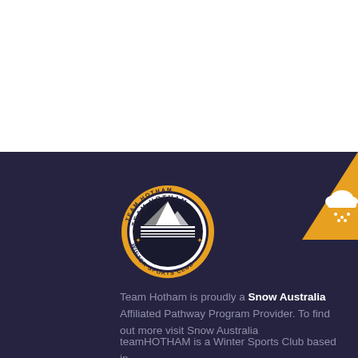[Figure (logo): Team Hotham Winter Sports Club circular logo with mountain imagery and yellow/gold border ring]
[Figure (illustration): Orange diamond/chevron shape in top-right corner of dark section with a cloud and snowflake weather icon]
Team Hotham is proudly a Snow Australia Affiliated Pathway Program Provider. To find out more visit Snow Australia
teamHOTHAM is a Winter Sports Club based in Mount Hotham, Victoria. We began in 1972